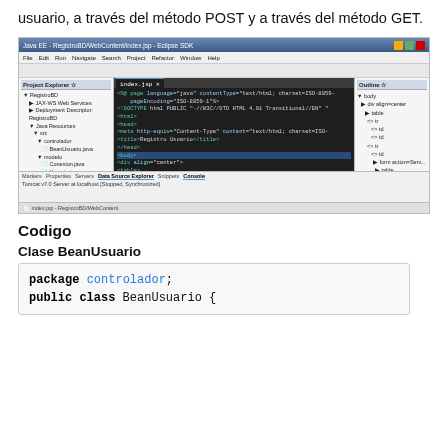usuario, a través del método POST y a través del método GET.
[Figure (screenshot): Eclipse IDE screenshot showing Project Explorer with RegistroBD project tree on the left, JSP code editor in the center with HTML/JSP code, and Outline panel on the right. Bottom panel shows Console tab with Tomcat server output.]
Codigo
Clase BeanUsuario
package controlador;
public class BeanUsuario {